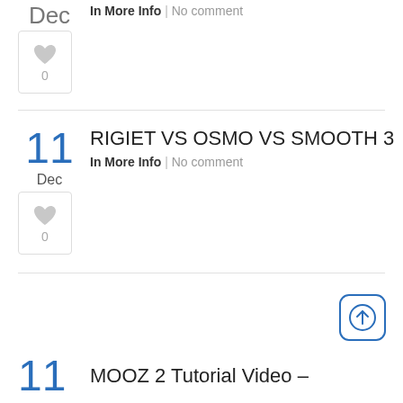Dec  Use Gimbal.
In More Info | No comment
[Figure (illustration): Heart like button with count 0]
11 Dec  RIGIET VS OSMO VS SMOOTH 3
In More Info | No comment
[Figure (illustration): Heart like button with count 0]
[Figure (illustration): Scroll to top button (circle with up arrow)]
11  MOOZ 2 Tutorial Video –